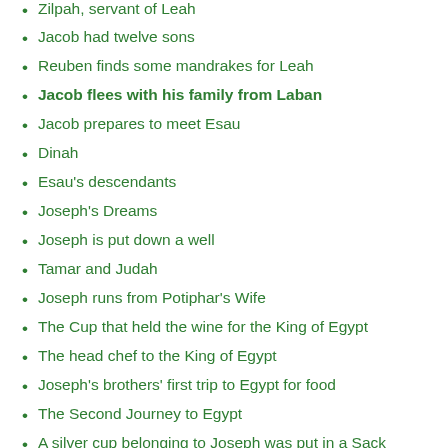Zilpah, servant of Leah
Jacob had twelve sons
Reuben finds some mandrakes for Leah
Jacob flees with his family from Laban
Jacob prepares to meet Esau
Dinah
Esau's descendants
Joseph's Dreams
Joseph is put down a well
Tamar and Judah
Joseph runs from Potiphar's Wife
The Cup that held the wine for the King of Egypt
The head chef to the King of Egypt
Joseph's brothers' first trip to Egypt for food
The Second Journey to Egypt
A silver cup belonging to Joseph was put in a Sack
Jacob moves to Egypt in a cart
Two Sons of Joseph
Manasseh, Joseph's older son